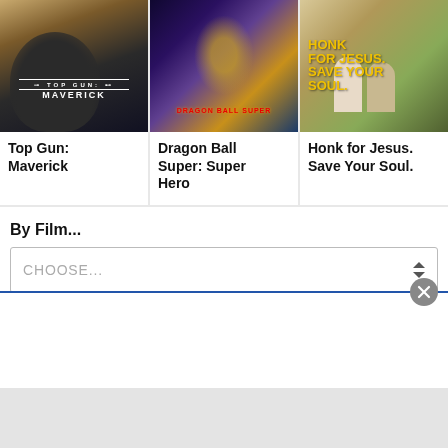[Figure (photo): Top Gun: Maverick movie poster showing a pilot in a helmet with military patches and the Top Gun Maverick logo]
[Figure (photo): Dragon Ball Super: Super Hero animated movie poster with colorful anime characters]
[Figure (photo): Honk for Jesus. Save Your Soul. movie poster with two people sitting on chairs]
Top Gun: Maverick
Dragon Ball Super: Super Hero
Honk for Jesus. Save Your Soul.
By Film...
CHOOSE...
By Theater